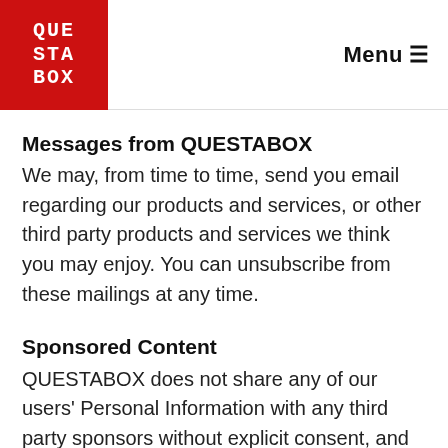QUESTABOX   Menu
Messages from QUESTABOX
We may, from time to time, send you email regarding our products and services, or other third party products and services we think you may enjoy. You can unsubscribe from these mailings at any time.
Sponsored Content
QUESTABOX does not share any of our users' Personal Information with any third party sponsors without explicit consent, and these sponsors do not have the ability to track or collect information